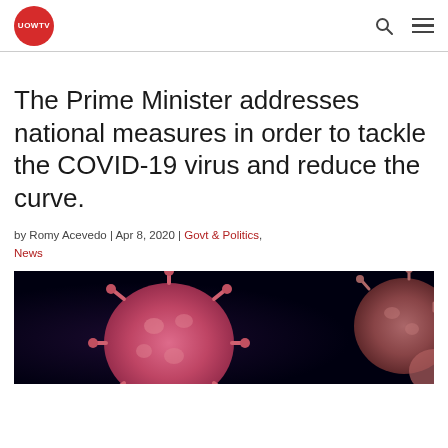UOWTV
The Prime Minister addresses national measures in order to tackle the COVID-19 virus and reduce the curve.
by Romy Acevedo | Apr 8, 2020 | Govt & Politics, News
[Figure (photo): Close-up 3D rendering of pink/red coronavirus particles on a dark background]